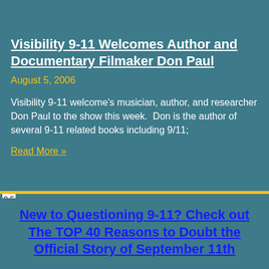Visibility 9-11 Welcomes Author and Documentary Filmaker Don Paul
August 5, 2006
Visibility 9-11 welcome's musician, author, and researcher Don Paul to the show this week.  Don is the author of several 9-11 related books including 9/11;
Read More »
0.5
New to Questioning 9-11? Check out The TOP 40 Reasons to Doubt the Official Story of September 11th